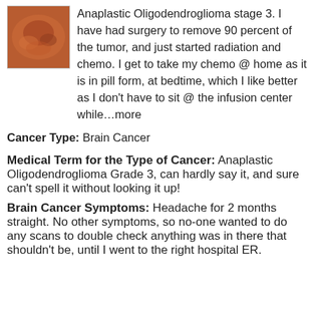[Figure (photo): Small avatar photo showing a reddish-orange image, likely a medical or personal profile photo with a border.]
Anaplastic Oligodendroglioma stage 3. I have had surgery to remove 90 percent of the tumor, and just started radiation and chemo. I get to take my chemo @ home as it is in pill form, at bedtime, which I like better as I don't have to sit @ the infusion center while…more
Cancer Type: Brain Cancer
Medical Term for the Type of Cancer: Anaplastic Oligodendroglioma Grade 3, can hardly say it, and sure can't spell it without looking it up!
Brain Cancer Symptoms: Headache for 2 months straight. No other symptoms, so no-one wanted to do any scans to double check anything was in there that shouldn't be, until I went to the right hospital ER.